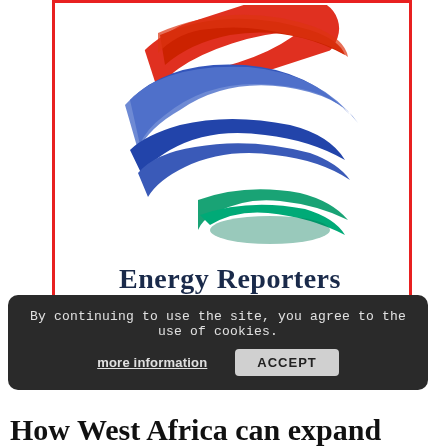[Figure (logo): Energy Reporters globe logo with red, blue, and green swoosh bands forming a sphere]
Energy Reporters
By continuing to use the site, you agree to the use of cookies.
more information   ACCEPT
How West Africa can expand